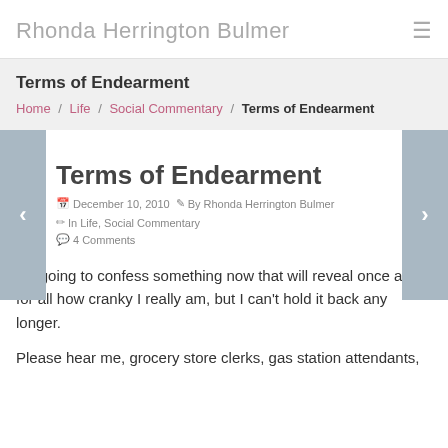Rhonda Herrington Bulmer
Terms of Endearment
Home / Life / Social Commentary / Terms of Endearment
Terms of Endearment
December 10, 2010   By Rhonda Herrington Bulmer   In Life, Social Commentary
4 Comments
I'm going to confess something now that will reveal once and for all how cranky I really am, but I can't hold it back any longer.
Please hear me, grocery store clerks, gas station attendants,